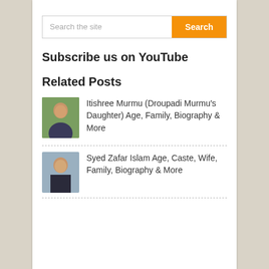Search the site
Subscribe us on YouTube
Related Posts
Itishree Murmu (Droupadi Murmu's Daughter) Age, Family, Biography & More
Syed Zafar Islam Age, Caste, Wife, Family, Biography & More